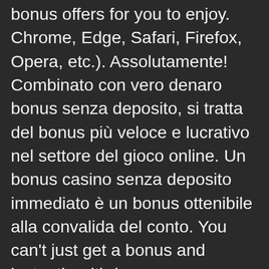bonus offers for you to enjoy. Chrome, Edge, Safari, Firefox, Opera, etc.). Assolutamente! Combinato con vero denaro bonus senza deposito, si tratta del bonus più veloce e lucrativo nel settore del gioco online. Un bonus casino senza deposito immediato è un bonus ottenibile alla convalida del conto. You can't just get a bonus and instantly withdraw your money. Daniel mette a frutto la propria esperienza nell'industria per fornire approfondite recensioni e valutazioni dei casinò Italiani, e si assicura che BonusFinder mantenga gli elevati standard di conformità dell'Agenzia delle Dogane e dei Monopoli. Further T&Cs apply. Bonus senza deposito immediato. Gioca gratis con soldi veri senza depositare. The only effect will be that you miss the casino bonus offers bl